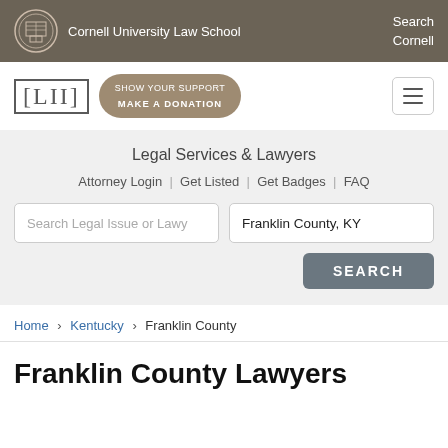Cornell University Law School | Search Cornell
[Figure (logo): LII Legal Information Institute logo with [LII] bracket logo and Show Your Support Make a Donation button]
Legal Services & Lawyers
Attorney Login | Get Listed | Get Badges | FAQ
Search Legal Issue or Lawy | Franklin County, KY | SEARCH
Home › Kentucky › Franklin County
Franklin County Lawyers